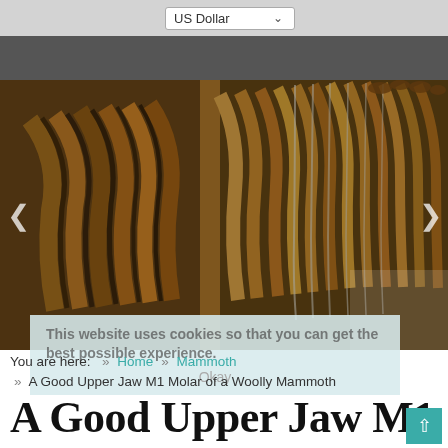US Dollar
[Figure (photo): Close-up photograph of a woolly mammoth upper jaw M1 molar fossil, showing dark brown and rust-colored ridged enamel plates against a white background.]
This website uses cookies so that you can get the best possible experience.
Okay
You are here:  »  Home  »  Mammoth  »  A Good Upper Jaw M1 Molar of a Woolly Mammoth
A Good Upper Jaw M1